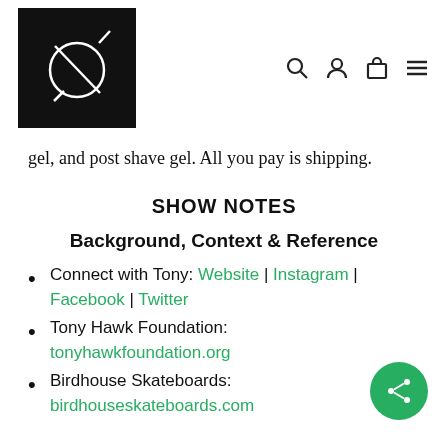[Figure (logo): Black square logo with a crossed circle and diagonal lines in white, resembling a stylized symbol]
gel, and post shave gel. All you pay is shipping.
SHOW NOTES
Background, Context & Reference
Connect with Tony: Website | Instagram | Facebook | Twitter
Tony Hawk Foundation: tonyhawkfoundation.org
Birdhouse Skateboards: birdhouseskateboards.com